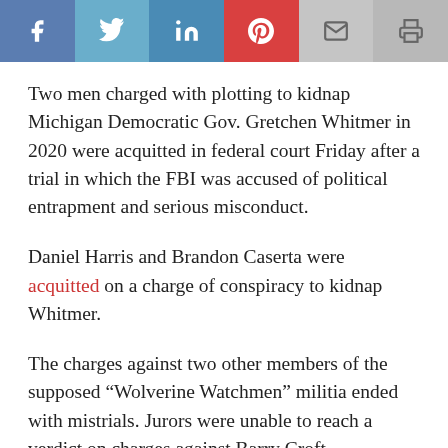[Figure (other): Social media sharing buttons: Facebook, Twitter, LinkedIn, Pinterest, Email, Print]
Two men charged with plotting to kidnap Michigan Democratic Gov. Gretchen Whitmer in 2020 were acquitted in federal court Friday after a trial in which the FBI was accused of political entrapment and serious misconduct.
Daniel Harris and Brandon Caserta were acquitted on a charge of conspiracy to kidnap Whitmer.
The charges against two other members of the supposed “Wolverine Watchmen” militia ended with mistrials. Jurors were unable to reach a verdict on charges against Barry Croft